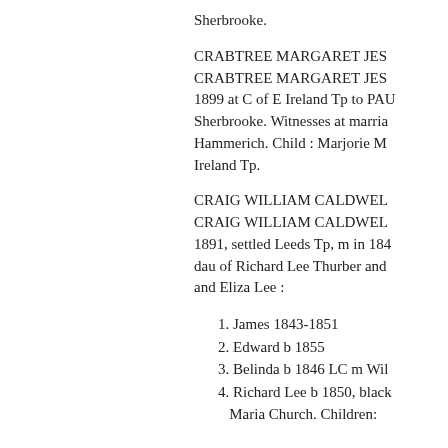Sherbrooke.
CRABTREE MARGARET JES... CRABTREE MARGARET JES... 1899 at C of E Ireland Tp to PAU... Sherbrooke. Witnesses at marria... Hammerich. Child : Marjorie M... Ireland Tp.
CRAIG WILLIAM CALDWEL... CRAIG WILLIAM CALDWEL... 1891, settled Leeds Tp, m in 184... dau of Richard Lee Thurber and ... and Eliza Lee :
1. James 1843-1851
2. Edward b 1855
3. Belinda b 1846 LC m Wil...
4. Richard Lee b 1850, black... Maria Church. Children: